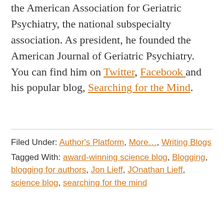the American Association for Geriatric Psychiatry, the national subspecialty association. As president, he founded the American Journal of Geriatric Psychiatry. You can find him on Twitter, Facebook and his popular blog, Searching for the Mind.
Filed Under: Author's Platform, More…, Writing Blogs Tagged With: award-winning science blog, Blogging, blogging for authors, Jon Lieff, JOnathan Lieff, science blog, searching for the mind